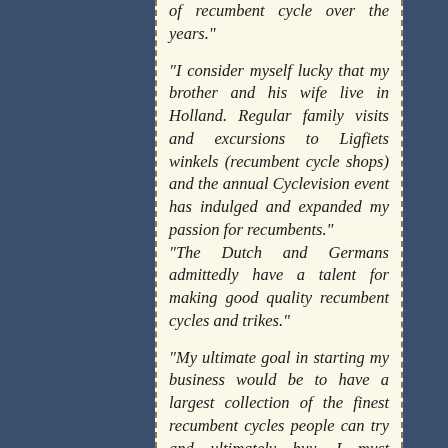of recumbent cycle over the years."
"I consider myself lucky that my brother and his wife live in Holland. Regular family visits and excursions to Ligfiets winkels (recumbent cycle shops) and the annual Cyclevision event has indulged and expanded my passion for recumbents."
"The Dutch and Germans admittedly have a talent for making good quality recumbent cycles and trikes."
"My ultimate goal in starting my business would be to have a largest collection of the finest recumbent cycles people can try and ultimately buy. I must confess that I'm not an expert or professional